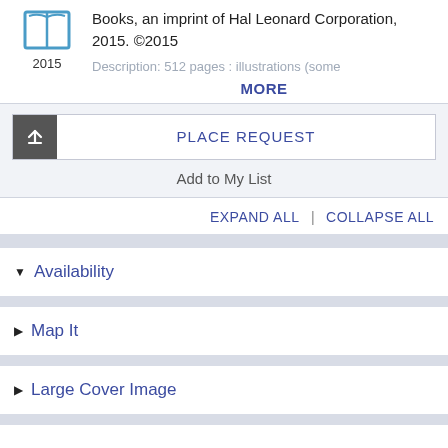[Figure (illustration): Book icon (open book outline in teal/blue)]
2015
Books, an imprint of Hal Leonard Corporation, 2015. ©2015
Description: 512 pages : illustrations (some
MORE
PLACE REQUEST
Add to My List
EXPAND ALL   |   COLLAPSE ALL
▼ Availability
▶ Map It
▶ Large Cover Image